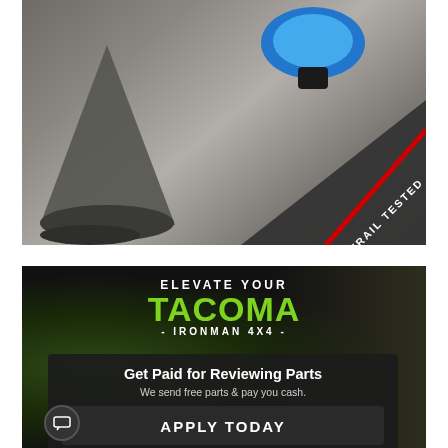[Figure (photo): Close-up photo of trail/outdoor equipment including a gray cone-shaped object and a blue bell or weight, with a 'TRAIL TESTED' badge overlay in the lower right corner on a dark triangular background with a red accent line.]
[Figure (infographic): Advertisement for Ironman 4x4 with text 'ELEVATE YOUR TACOMA - IRONMAN 4X4 -', a dark overlay box reading 'Get Paid for Reviewing Parts / We send free parts & pay you cash.' and an 'APPLY TODAY' button with a red dashed line underneath. A chat icon button is visible in the lower left.]